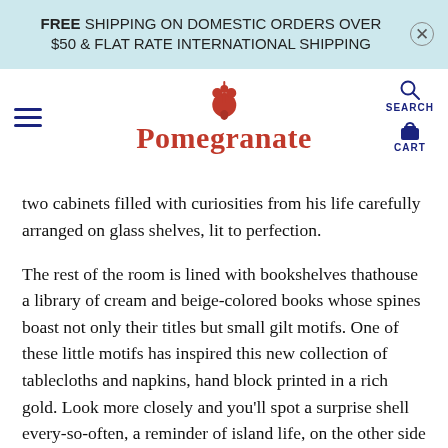FREE SHIPPING ON DOMESTIC ORDERS OVER $50 & FLAT RATE INTERNATIONAL SHIPPING
[Figure (logo): Pomegranate logo with pomegranate icon above text]
two cabinets filled with curiosities from his life carefully arranged on glass shelves, lit to perfection.
The rest of the room is lined with bookshelves that house a library of cream and beige-colored books whose spines boast not only their titles but small gilt motifs. One of these little motifs has inspired this new collection of tablecloths and napkins, hand block printed in a rich gold. Look more closely and you’ll spot a surprise shell every-so-often, a reminder of island life, on the other side of the world.